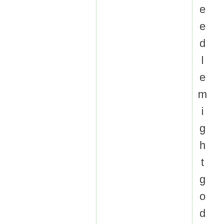e e d l e m i g h t g o d o w n a n